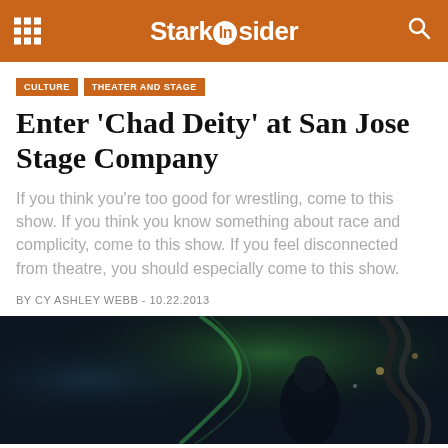StarkInsider
CULTURE   THEATER AND STAGE
Enter 'Chad Deity' at San Jose Stage Company
If you think you're too good for wrestling, come to this show. If you think you know something about race and complicity, come to this show. If you feel disconnected from theatre, you should especially come to this show.
BY CY ASHLEY WEBB - 10.22.2013
[Figure (photo): Dark stage performance photo showing a wrestler figure with green lighting and dark background at San Jose Stage Company]